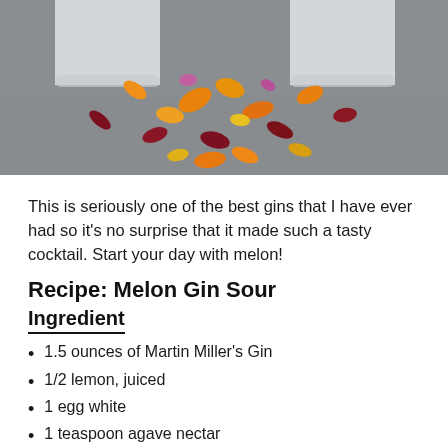[Figure (photo): Top portion of image showing two cocktail glasses with white/cream colored drinks from above, surrounded by colorful flower petals (orange, red, yellow, pink) on a gray surface]
This is seriously one of the best gins that I have ever had so it's no surprise that it made such a tasty cocktail. Start your day with melon!
Recipe: Melon Gin Sour
Ingredient
1.5 ounces of Martin Miller's Gin
1/2 lemon, juiced
1 egg white
1 teaspoon agave nectar
1 ounce watermelon or cantaloupe juice